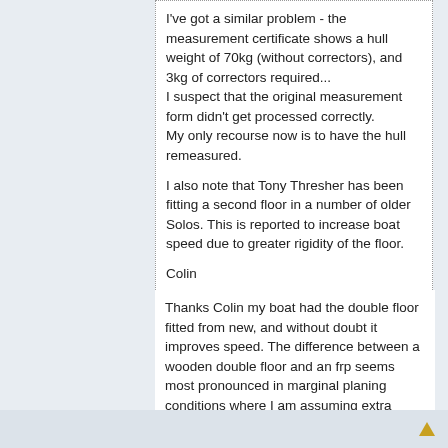I've got a similar problem - the measurement certificate shows a hull weight of 70kg (without correctors), and 3kg of correctors required...
I suspect that the original measurement form didn't get processed correctly.
My only recourse now is to have the hull remeasured.

I also note that Tony Thresher has been fitting a second floor in a number of older Solos. This is reported to increase boat speed due to greater rigidity of the floor.

Colin
Thanks Colin my boat had the double floor fitted from new, and without doubt it improves speed. The difference between a wooden double floor and an frp seems most pronounced in marginal planing conditions where I am assuming extra weight hurts most. Who knows? perhaps the Solo assoc will remember there are a lot of boats without or with few correctors and cancel the proposal to reduce all up weight? But will continue with my attempts to get weight down and some correctors into 4217